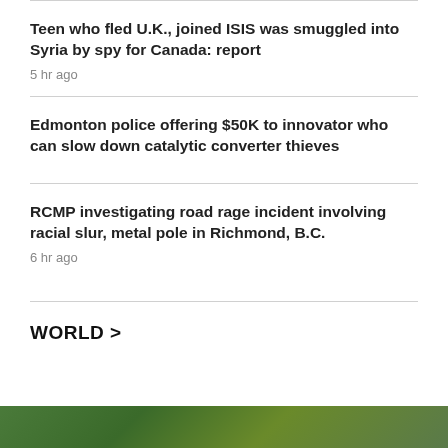Teen who fled U.K., joined ISIS was smuggled into Syria by spy for Canada: report
5 hr ago
Edmonton police offering $50K to innovator who can slow down catalytic converter thieves
RCMP investigating road rage incident involving racial slur, metal pole in Richmond, B.C.
6 hr ago
WORLD >
[Figure (photo): Partial photo visible at bottom of page, appears to show outdoor/nature scene]